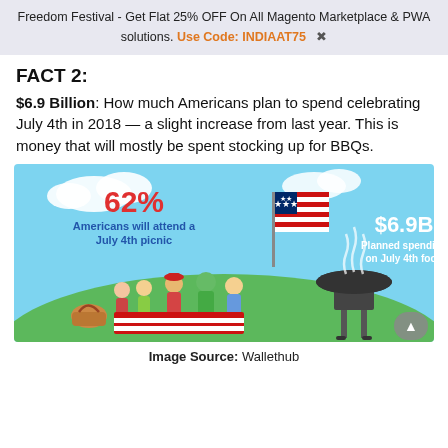Freedom Festival - Get Flat 25% OFF On All Magento Marketplace & PWA solutions. Use Code: INDIAAT75  ✖
FACT 2:
$6.9 Billion: How much Americans plan to spend celebrating July 4th in 2018 — a slight increase from last year. This is money that will mostly be spent stocking up for BBQs.
[Figure (infographic): Infographic with blue sky background. Shows '62%' in red, 'Americans will attend a July 4th picnic' in blue. Shows '$6.9B' in white, 'Planned spending on July 4th food' in white. Illustration of a family picnic on grass with an American flag and BBQ grill.]
Image Source: Wallethub